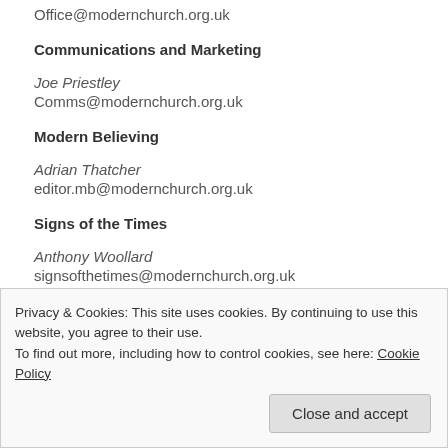Office@modernchurch.org.uk
Communications and Marketing
Joe Priestley
Comms@modernchurch.org.uk
Modern Believing
Adrian Thatcher
editor.mb@modernchurch.org.uk
Signs of the Times
Anthony Woollard
signsofthetimes@modernchurch.org.uk
Forum
Privacy & Cookies: This site uses cookies. By continuing to use this website, you agree to their use.
To find out more, including how to control cookies, see here: Cookie Policy
Close and accept